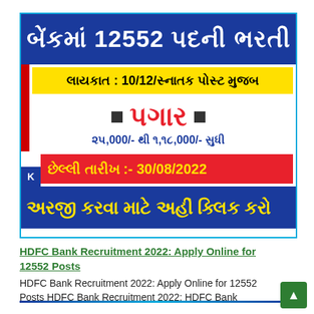[Figure (infographic): Gujarati language recruitment banner for HDFC Bank with 12552 posts. Shows title in dark blue: 'બેંકમાં 12552 પદની ભરતી', yellow bar: 'લાયકાત : 10/12/સ્નાતક પોસ્ટ મુજબ', red salary text: 'પગાર ૨૫,000/- થી ૧,૧૮,000/- સુધી', red date bar: 'છેલ્લી તારીખ :- 30/08/2022', blue apply bar: 'અરજી કરવા માટે અહીં ક્લિક કરો']
HDFC Bank Recruitment 2022: Apply Online for 12552 Posts
HDFC Bank Recruitment 2022: Apply Online for 12552 Posts HDFC Bank Recruitment 2022: HDFC Bank